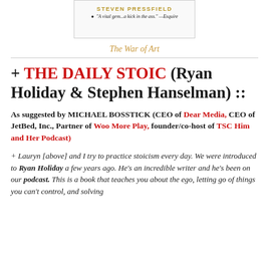[Figure (photo): Book cover image for The War of Art by Steven Pressfield with quote 'A vital gem...a kick in the ass.' —Esquire]
The War of Art
+ THE DAILY STOIC (Ryan Holiday & Stephen Hanselman) ::
As suggested by MICHAEL BOSSTICK (CEO of Dear Media, CEO of JetBed, Inc., Partner of Woo More Play, founder/co-host of TSC Him and Her Podcast)
+ Lauryn [above] and I try to practice stoicism every day. We were introduced to Ryan Holiday a few years ago. He's an incredible writer and he's been on our podcast. This is a book that teaches you about the ego, letting go of things you can't control, and solving